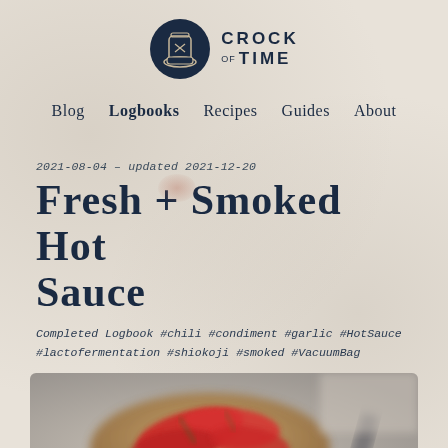[Figure (logo): Crock of Time logo: dark navy circle with a crock/hourglass icon, text CROCK OF TIME to the right]
Blog  Logbooks  Recipes  Guides  About
2021-08-04 – updated 2021-12-20
Fresh + Smoked Hot Sauce
Completed Logbook #chili #condiment #garlic #HotSauce #lactofermentation #shiokoji #smoked #VacuumBag
[Figure (photo): Blurred close-up photo of red chili peppers in a wooden bowl]